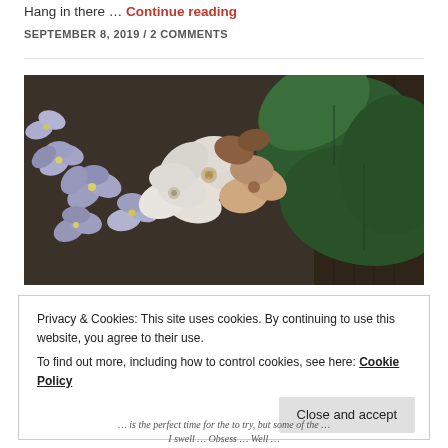Hang in there … Continue reading
SEPTEMBER 8, 2019 / 2 COMMENTS
[Figure (photo): Close-up photograph of purple/white/peach flowers (African violets) with dark green leaves, on a textured background]
Privacy & Cookies: This site uses cookies. By continuing to use this website, you agree to their use. To find out more, including how to control cookies, see here: Cookie Policy
Close and accept
… is the perfect time for the to try, but some of the … I swell … Obsess … Well …